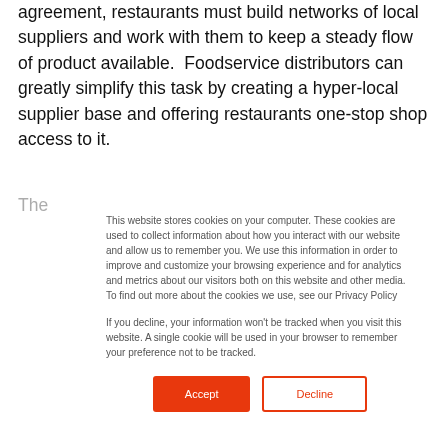agreement, restaurants must build networks of local suppliers and work with them to keep a steady flow of product available.  Foodservice distributors can greatly simplify this task by creating a hyper-local supplier base and offering restaurants one-stop shop access to it.
This website stores cookies on your computer. These cookies are used to collect information about how you interact with our website and allow us to remember you. We use this information in order to improve and customize your browsing experience and for analytics and metrics about our visitors both on this website and other media. To find out more about the cookies we use, see our Privacy Policy

If you decline, your information won't be tracked when you visit this website. A single cookie will be used in your browser to remember your preference not to be tracked.
Accept | Decline